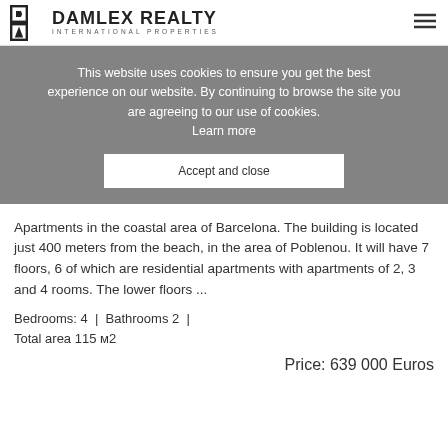[Figure (logo): Damlex Realty logo with icon and text INTERNATIONAL PROPERTIES]
This website uses cookies to ensure you get the best experience on our website. By continuing to browse the site you are agreeing to our use of cookies. Learn more
Accept and close
Apartments in the coastal area of Barcelona. The building is located just 400 meters from the beach, in the area of Poblenou. It will have 7 floors, 6 of which are residential apartments with apartments of 2, 3 and 4 rooms. The lower floors ...
Bedrooms: 4 | Bathrooms 2 |
Total area 115 м2
Price: 639 000 Euros